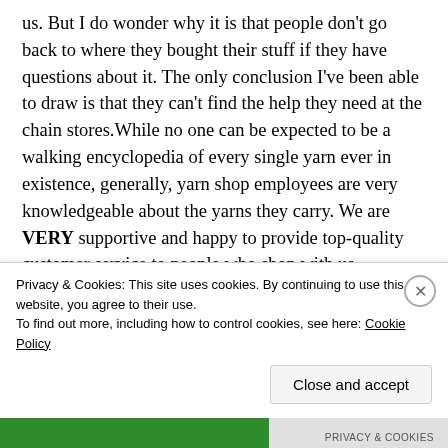us. But I do wonder why it is that people don't go back to where they bought their stuff if they have questions about it. The only conclusion I've been able to draw is that they can't find the help they need at the chain stores.While no one can be expected to be a walking encyclopedia of every single yarn ever in existence, generally, yarn shop employees are very knowledgeable about the yarns they carry. We are VERY supportive and happy to provide top-quality customer service to people who shop with us. However, if you do all your shopping at a chain store, you don't have the
Privacy & Cookies: This site uses cookies. By continuing to use this website, you agree to their use.
To find out more, including how to control cookies, see here: Cookie Policy
Close and accept